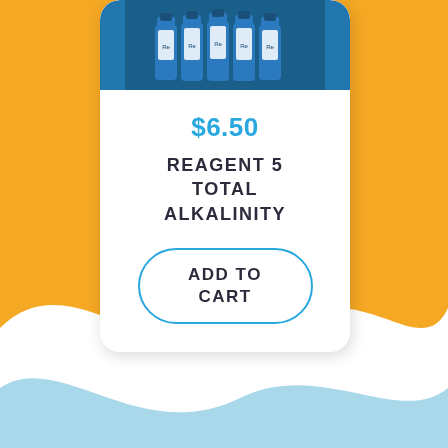[Figure (photo): Product card showing reagent bottles on a blue background, with price $6.50, product name REAGENT 5 TOTAL ALKALINITY, and an ADD TO CART button. Background is orange/yellow with white and light blue wave shapes at the bottom.]
$6.50
REAGENT 5 TOTAL ALKALINITY
ADD TO CART